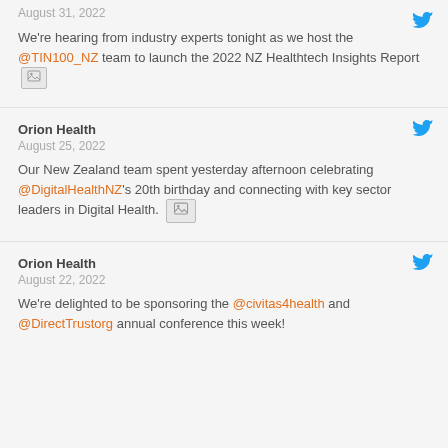August 31, 2022
We're hearing from industry experts tonight as we host the @TIN100_NZ team to launch the 2022 NZ Healthtech Insights Report [image]
Orion Health
August 25, 2022
Our New Zealand team spent yesterday afternoon celebrating @DigitalHealthNZ's 20th birthday and connecting with key sector leaders in Digital Health. [image]
Orion Health
August 22, 2022
We're delighted to be sponsoring the @civitas4health and @DirectTrustorg annual conference this week!